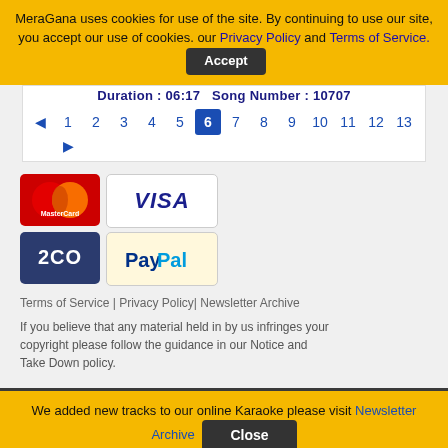MeraGana uses cookies for use of the site. By continuing to use our site, you accept our use of cookies. our Privacy Policy and Terms of Service. Accept
Duration : 06:17   Song Number : 10707
◄ 1 2 3 4 5 6 7 8 9 10 11 12 13 ►
[Figure (logo): MasterCard logo - red circles]
[Figure (logo): VISA logo]
[Figure (logo): 2CO payment logo]
[Figure (logo): PayPal logo]
Terms of Service | Privacy Policy| Newsletter Archive
If you believe that any material held in by us infringes your copyright please follow the guidance in our Notice and Take Down policy.
We added new tracks to our online Karaoke please visit Newsletter Archive  Close